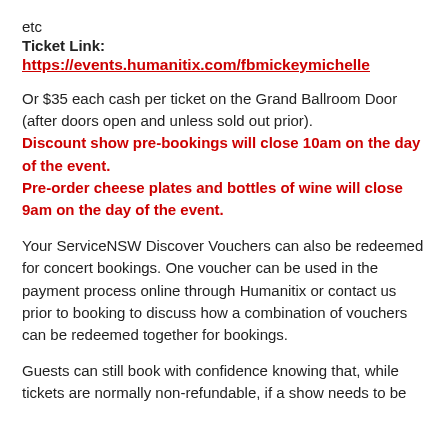etc
Ticket Link:
https://events.humanitix.com/fbmickeymichelle
Or $35 each cash per ticket on the Grand Ballroom Door (after doors open and unless sold out prior). Discount show pre-bookings will close 10am on the day of the event. Pre-order cheese plates and bottles of wine will close 9am on the day of the event.
Your ServiceNSW Discover Vouchers can also be redeemed for concert bookings. One voucher can be used in the payment process online through Humanitix or contact us prior to booking to discuss how a combination of vouchers can be redeemed together for bookings.
Guests can still book with confidence knowing that, while tickets are normally non-refundable, if a show needs to be